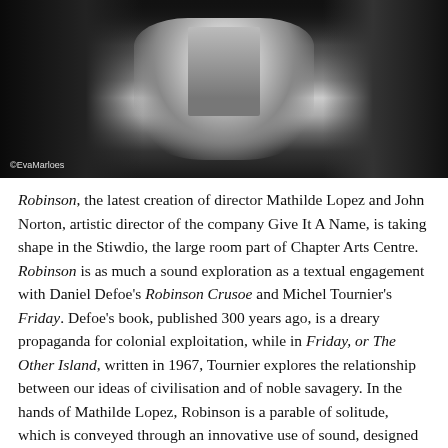[Figure (photo): Black and white photograph of a person wearing a white zip-up jacket/hoodie, partially obscured by dark surroundings. Photo credit: ©EvaMarloes]
©EvaMarloes
Robinson, the latest creation of director Mathilde Lopez and John Norton, artistic director of the company Give It A Name, is taking shape in the Stiwdio, the large room part of Chapter Arts Centre. Robinson is as much a sound exploration as a textual engagement with Daniel Defoe's Robinson Crusoe and Michel Tournier's Friday. Defoe's book, published 300 years ago, is a dreary propaganda for colonial exploitation, while in Friday, or The Other Island, written in 1967, Tournier explores the relationship between our ideas of civilisation and of noble savagery. In the hands of Mathilde Lopez, Robinson is a parable of solitude, which is conveyed through an innovative use of sound, designed by John Norton.